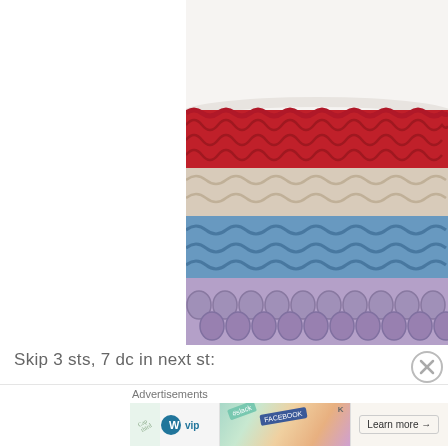on and go m
[Figure (photo): Close-up photo of crochet stitches in multiple color stripes: white/cream at top, red, beige/cream, blue, and purple/lavender at bottom, showing shell or fan stitch pattern]
Skip 3 sts, 7 dc in next st:
Advertisements
[Figure (photo): Advertisement banner showing WordPress VIP logo on left, colorful social media logos in center (Slack, Facebook, and others), and a Learn more arrow button on right]